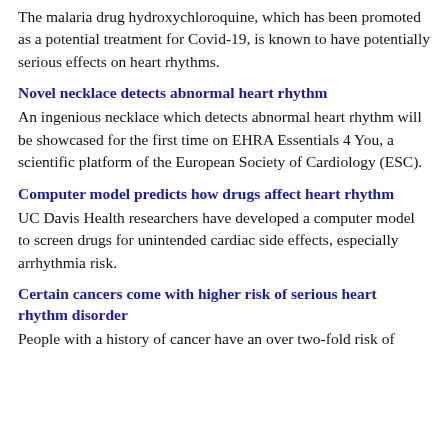The malaria drug hydroxychloroquine, which has been promoted as a potential treatment for Covid-19, is known to have potentially serious effects on heart rhythms.
Novel necklace detects abnormal heart rhythm
An ingenious necklace which detects abnormal heart rhythm will be showcased for the first time on EHRA Essentials 4 You, a scientific platform of the European Society of Cardiology (ESC).
Computer model predicts how drugs affect heart rhythm
UC Davis Health researchers have developed a computer model to screen drugs for unintended cardiac side effects, especially arrhythmia risk.
Certain cancers come with higher risk of serious heart rhythm disorder
People with a history of cancer have an over two-fold risk of